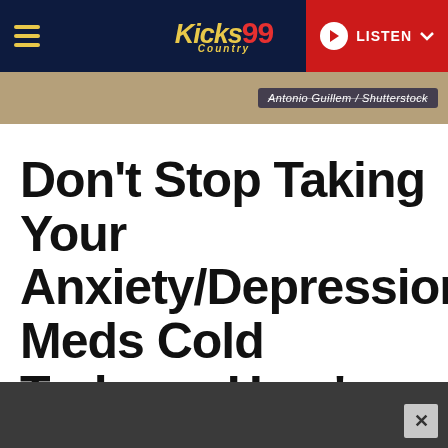Kicks Country 99 — LISTEN
[Figure (screenshot): Tan/beige background image banner strip with dark overlay text label reading 'Antonio Guillem / Shutterstock']
Don't Stop Taking Your Anxiety/Depression Meds Cold Turkey – Here's Why
[Figure (other): Dark grey bottom advertisement bar with close (X) button in lower right]